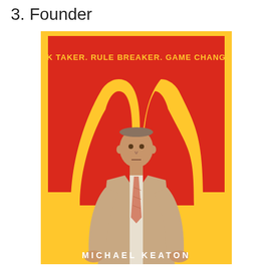3. Founder
[Figure (illustration): Movie poster for 'The Founder' featuring Michael Keaton. Yellow background with large McDonald's golden arches on a red rectangle. Text reads 'RISK TAKER. RULE BREAKER. GAME CHANGER.' in yellow at the top. A man in a tan suit with a pink tie stands in the foreground with hands on hips. Text 'MICHAEL KEATON' appears at the bottom in white letters.]